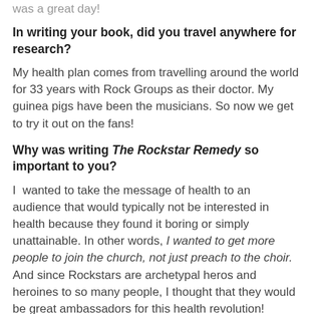was a great day!
In writing your book, did you travel anywhere for research?
My health plan comes from travelling around the world for 33 years with Rock Groups as their doctor.  My guinea pigs have been the musicians.  So now we get to try it out on the fans!
Why was writing The Rockstar Remedy so important to you?
I  wanted to take the message of health to an audience that would typically not be interested in health because they found it boring or simply unattainable.  In other words, I wanted to get more people to join the church, not just preach to the choir.  And since Rockstars are archetypal heros and heroines to so many people, I thought that they would be great ambassadors for this health revolution!
Where do you get your best ideas and why do you think that is?